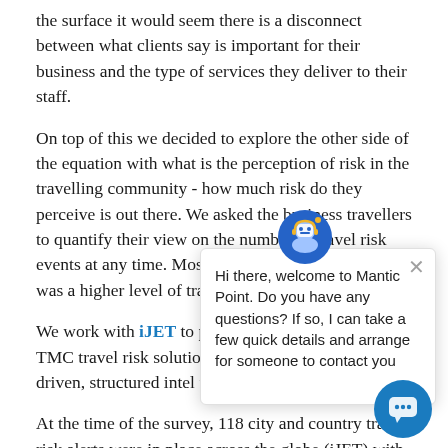the surface it would seem there is a disconnect between what clients say is important for their business and the type of services they deliver to their staff.
On top of this we decided to explore the other side of the equation with what is the perception of risk in the travelling community - how much risk do they perceive is out there. We asked the business travellers to quantify their view on the number of travel risk events at any time. Most respondents noted that there was a higher level of travel risk.
We work with iJET to power Mantic Point's leading TMC travel risk solutions, and to provide data-driven, structured intel for...
At the time of the survey, 118 city and country travel risk alerts were in place across the globe (iJET) with various categories of risk, yet when asked to estimate the current travel risk environment, a majority of the travellers (55%)